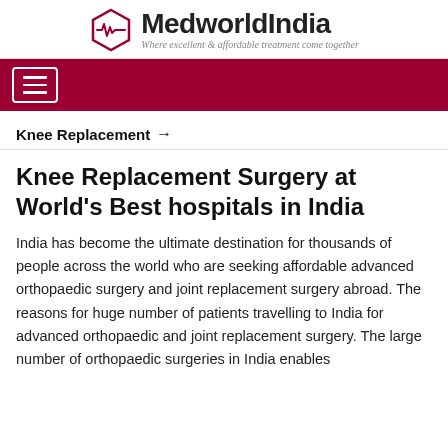[Figure (logo): MedworldIndia logo with hexagonal heart-ECG icon and tagline 'Where excellent & affordable treatment come together']
Navigation bar with hamburger menu button
Knee Replacement →
Knee Replacement Surgery at World's Best hospitals in India
India has become the ultimate destination for thousands of people across the world who are seeking affordable advanced orthopaedic surgery and joint replacement surgery abroad. The reasons for huge number of patients travelling to India for advanced orthopaedic and joint replacement surgery. The large number of orthopaedic surgeries in India enables